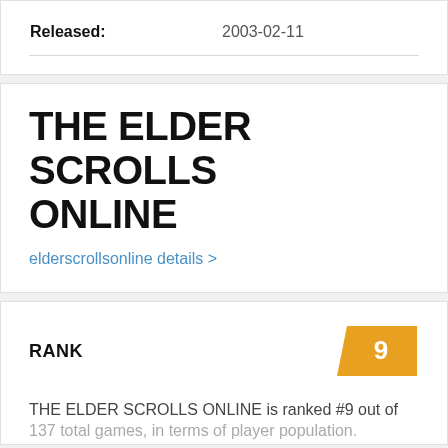| Released: | 2003-02-11 |
| --- | --- |
THE ELDER SCROLLS ONLINE
elderscrollsonline details >
RANK
THE ELDER SCROLLS ONLINE is ranked #9 out of
137 total games, in terms of player population.